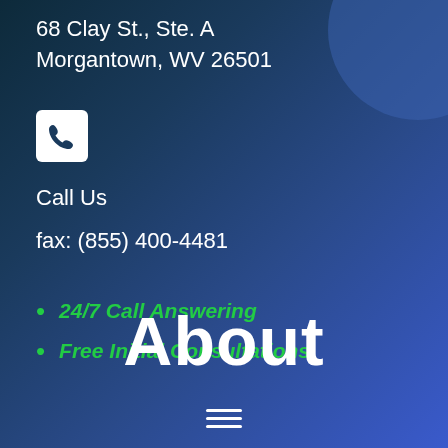68 Clay St., Ste. A
Morgantown, WV 26501
[Figure (infographic): White phone icon in a white rounded square box on dark background]
Call Us
fax: (855) 400-4481
24/7 Call Answering
Free Initial Consultations
About
[Figure (infographic): Hamburger menu icon (three horizontal lines) at the bottom center of the page]